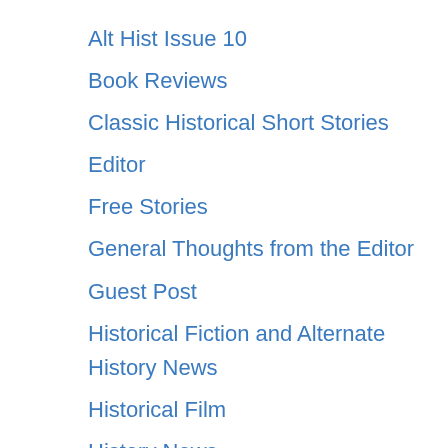Alt Hist Issue 10
Book Reviews
Classic Historical Short Stories
Editor
Free Stories
General Thoughts from the Editor
Guest Post
Historical Fiction and Alternate History News
Historical Film
History News
Interview
Issue 1
Issue 2
Issue 3